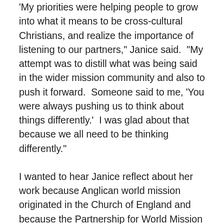'My priorities were helping people to grow into what it means to be cross-cultural Christians, and realize the importance of listening to our partners,' Janice said.  'My attempt was to distill what was being said in the wider mission community and also to push it forward.  Someone said to me, 'You were always pushing us to think about things differently.'  I was glad about that because we all need to be thinking differently.'
I wanted to hear Janice reflect about her work because Anglican world mission originated in the Church of England and because the Partnership for World Mission (PWM) is a network similar to the Global Episcopal Mission Network (GEMN) in the Episcopal Church.  I've been to several of PWM's annual conferences, along with other GEMN members, and I've been impressed by the enthusiasm and insight of the mission activists gathered